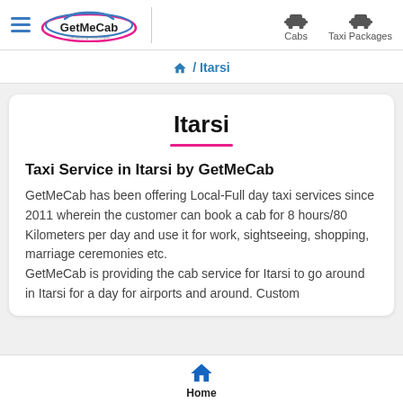GetMeCab — Cabs | Taxi Packages
🏠 / Itarsi
Itarsi
Taxi Service in Itarsi by GetMeCab
GetMeCab has been offering Local-Full day taxi services since 2011 wherein the customer can book a cab for 8 hours/80 Kilometers per day and use it for work, sightseeing, shopping, marriage ceremonies etc.
GetMeCab is providing the cab service for Itarsi to go around in Itarsi for a day for airports and around. Custom...
Home